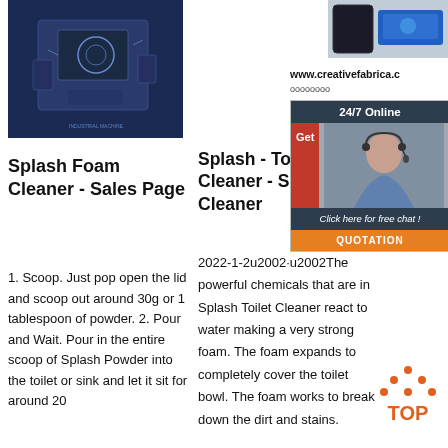[Figure (photo): Photo of an industrial machine on dark blue background]
[Figure (photo): Partial photo of industrial parts, top right corner]
Splash Foam Cleaner - Sales Page
1. Scoop. Just pop open the lid and scoop out around 30g or 1 tablespoon of powder. 2. Pour and Wait. Pour in the entire scoop of Splash Powder into the toilet or sink and let it sit for around 20
Splash - Toilet Cleaner - Splash Cleaner
2022-1-2u2002·u2002The powerful chemicals that are in Splash Toilet Cleaner react to water making a very strong foam. The foam expands to completely cover the toilet bowl. The foam works to break down the dirt and stains.
www.creativefabrica.c
oooooooo
[Figure (infographic): Customer service ad widget with 24/7 Online header, Get button, woman with headset, Click here for free chat, QUOTATION button]
[Figure (logo): TOP button icon with orange dots and text]